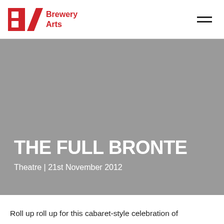Brewery Arts
[Figure (logo): Brewery Arts logo: red geometric B and A shape with 'Brewery Arts' text in red]
THE FULL BRONTE
Theatre | 21st November 2012
Roll up roll up for this cabaret-style celebration of